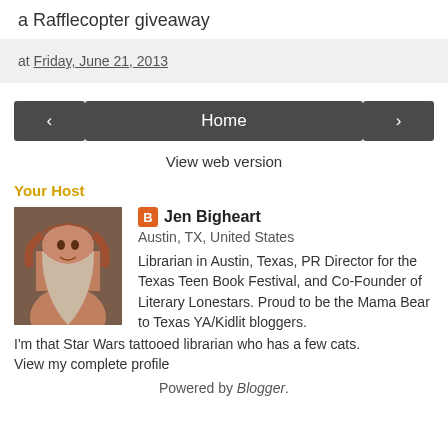a Rafflecopter giveaway
at Friday, June 21, 2013
[Figure (other): Navigation bar with left arrow button, Home button, and right arrow button]
View web version
Your Host
[Figure (photo): Profile photo of Jen Bigheart - woman with long red/brown hair smiling]
Jen Bigheart
Austin, TX, United States
Librarian in Austin, Texas, PR Director for the Texas Teen Book Festival, and Co-Founder of Literary Lonestars. Proud to be the Mama Bear to Texas YA/Kidlit bloggers. I'm that Star Wars tattooed librarian who has a few cats.
View my complete profile
Powered by Blogger.